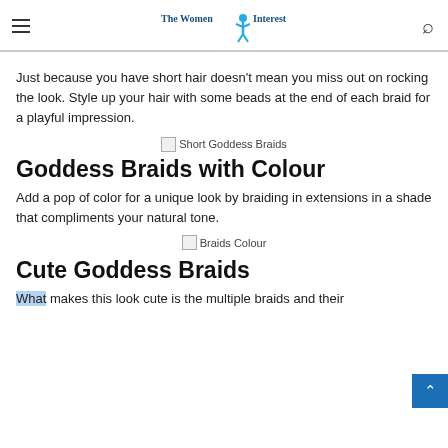The Women Interest
Just because you have short hair doesn't mean you miss out on rocking the look. Style up your hair with some beads at the end of each braid for a playful impression.
[Figure (photo): Broken image placeholder labeled 'Short Goddess Braids']
Goddess Braids with Colour
Add a pop of color for a unique look by braiding in extensions in a shade that compliments your natural tone.
[Figure (photo): Broken image placeholder labeled 'Braids Colour']
Cute Goddess Braids
What makes this look cute is the multiple braids and their